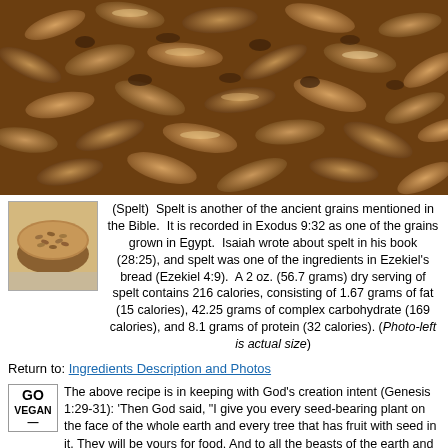[Figure (photo): Close-up photograph of spelt grain kernels, brownish elongated seeds filling the entire frame]
[Figure (photo): Small photo of a bowl of spelt grains shown at actual size]
(Spelt) Spelt is another of the ancient grains mentioned in the Bible. It is recorded in Exodus 9:32 as one of the grains grown in Egypt. Isaiah wrote about spelt in his book (28:25), and spelt was one of the ingredients in Ezekiel's bread (Ezekiel 4:9). A 2 oz. (56.7 grams) dry serving of spelt contains 216 calories, consisting of 1.67 grams of fat (15 calories), 42.25 grams of complex carbohydrate (169 calories), and 8.1 grams of protein (32 calories). (Photo-left is actual size)
Return to: Ingredients Description and Photos
The above recipe is in keeping with God's creation intent (Genesis 1:29-31): 'Then God said, "I give you every seed-bearing plant on the face of the whole earth and every tree that has fruit with seed in it. They will be yours for food. And to all the beasts of the earth and all the birds of the air and all the creatures that move on the ground-- everything that has the breath of life in it-- I give every green plant for food." And it was so. God saw all